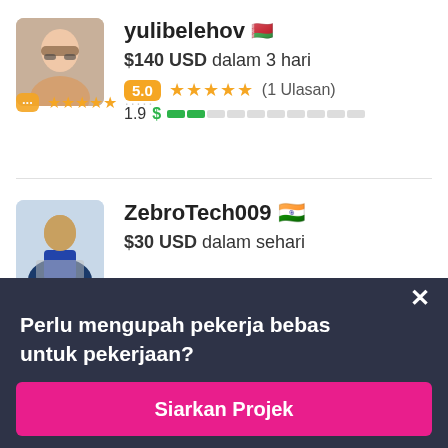[Figure (photo): Profile photo of yulibelehov, a person with glasses]
yulibelehov 🇧🇾
$140 USD dalam 3 hari
5.0 ★★★★★ (1 Ulasan)
1.9 $ ██░░░░░░░░
[Figure (photo): Profile photo of ZebroTech009, a man in business attire with a laptop]
ZebroTech009 🇮🇳
$30 USD dalam sehari
Perlu mengupah pekerja bebas untuk pekerjaan?
Siarkan Projek